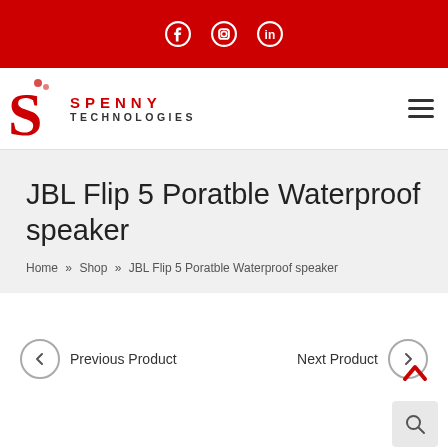Social media icons: Facebook, Instagram, LinkedIn
[Figure (logo): Spenny Technologies logo with red S letter and red SPENNY / dark TECHNOLOGIES wordmark]
JBL Flip 5 Poratble Waterproof speaker
Home » Shop » JBL Flip 5 Poratble Waterproof speaker
Previous Product
Next Product